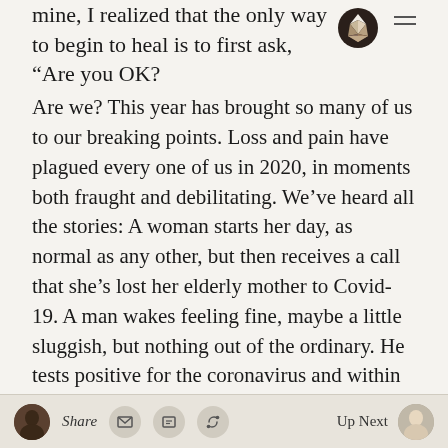mine, I realized that the only way to begin to heal is to first ask, “Are you OK?
Are we? This year has brought so many of us to our breaking points. Loss and pain have plagued every one of us in 2020, in moments both fraught and debilitating. We’ve heard all the stories: A woman starts her day, as normal as any other, but then receives a call that she’s lost her elderly mother to Covid-19. A man wakes feeling fine, maybe a little sluggish, but nothing out of the ordinary. He tests positive for the coronavirus and within weeks, he — like hundreds of thousands of others — has died.
A young woman named Breonna Taylor goes to sleep, just as she’s done every night before, but she
Share | Up Next